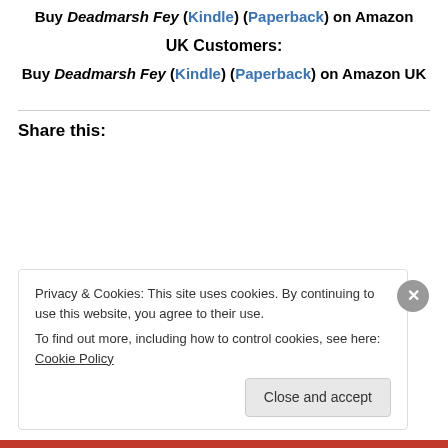Buy Deadmarsh Fey (Kindle) (Paperback) on Amazon
UK Customers:
Buy Deadmarsh Fey (Kindle) (Paperback) on Amazon UK
Share this:
Privacy & Cookies: This site uses cookies. By continuing to use this website, you agree to their use. To find out more, including how to control cookies, see here: Cookie Policy